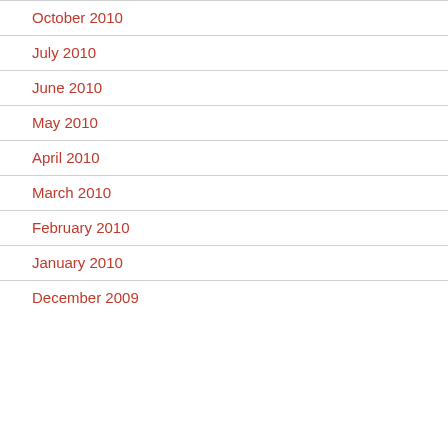October 2010
July 2010
June 2010
May 2010
April 2010
March 2010
February 2010
January 2010
December 2009